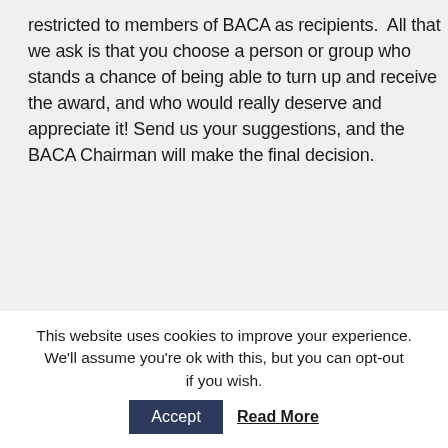restricted to members of BACA as recipients.  All that we ask is that you choose a person or group who stands a chance of being able to turn up and receive the award, and who would really deserve and appreciate it! Send us your suggestions, and the BACA Chairman will make the final decision.
← PREVIOUS    NEXT →
This website uses cookies to improve your experience. We'll assume you're ok with this, but you can opt-out if you wish. Accept Read More